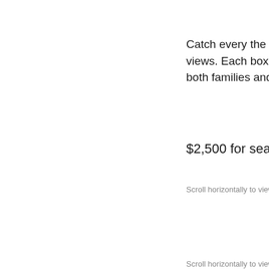AVAI…
Catch every the match f… views. Each box include… both families and corpor…
$2,500 for season box (…
Scroll horizontally to view the whole ta…
Scroll horizontally to view the whole ta…
[Figure (other): Dark green rectangular banner/header block]